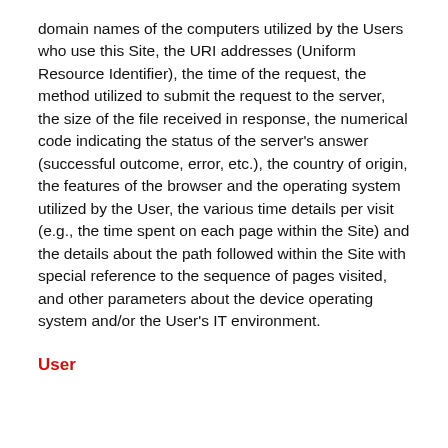domain names of the computers utilized by the Users who use this Site, the URI addresses (Uniform Resource Identifier), the time of the request, the method utilized to submit the request to the server, the size of the file received in response, the numerical code indicating the status of the server's answer (successful outcome, error, etc.), the country of origin, the features of the browser and the operating system utilized by the User, the various time details per visit (e.g., the time spent on each page within the Site) and the details about the path followed within the Site with special reference to the sequence of pages visited, and other parameters about the device operating system and/or the User's IT environment.
User